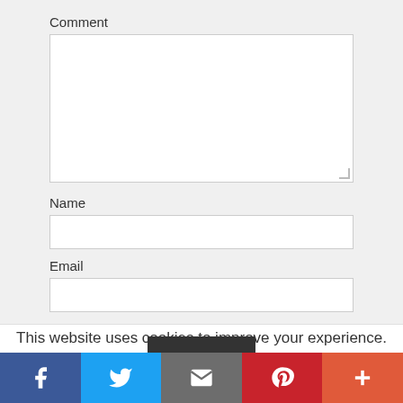Comment
Name
Email
Website
This website uses cookies to improve your experience. We'll assume you're ok with this, but you can opt-out if you wish.
[Figure (infographic): Social share bar with Facebook, Twitter, Email, Pinterest, and More (+) buttons]